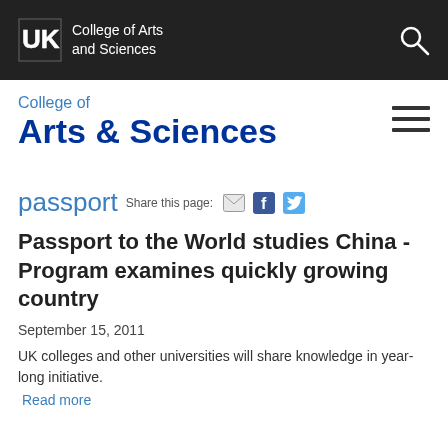UK College of Arts and Sciences
College of Arts & Sciences
passport Share this page:
Passport to the World studies China - Program examines quickly growing country
September 15, 2011
UK colleges and other universities will share knowledge in year-long initiative.
Read more